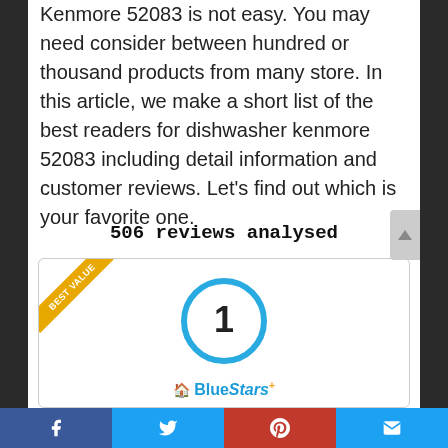Kenmore 52083 is not easy. You may need consider between hundred or thousand products from many store. In this article, we make a short list of the best readers for dishwasher kenmore 52083 including detail information and customer reviews. Let's find out which is your favorite one.
506 reviews analysed
[Figure (infographic): Product ranking card with a 'BEST VALUE' ribbon in the top-left corner and a large blue circle badge with the number 1 in the center. BlueStars logo appears at the bottom of the card.]
Social share bar with Facebook, Twitter, Pinterest, and Email buttons